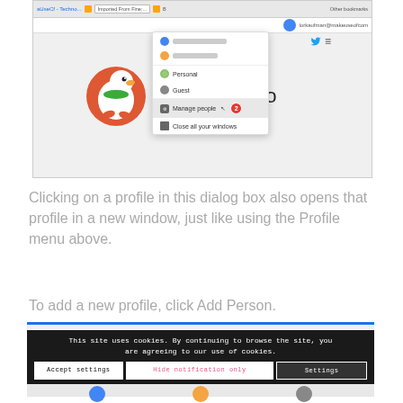[Figure (screenshot): Browser screenshot showing DuckDuckGo homepage with a profile dropdown menu open, showing options: Personal, Guest, Manage people (with red badge '2'), and Close all your windows. The DuckDuckGo duck logo is visible in the background.]
Clicking on a profile in this dialog box also opens that profile in a new window, just like using the Profile menu above.
To add a new profile, click Add Person.
[Figure (screenshot): Cookie consent banner with dark background reading: 'This site uses cookies. By continuing to browse the site, you are agreeing to our use of cookies.' with buttons: Accept settings, Hide notification only, Settings]